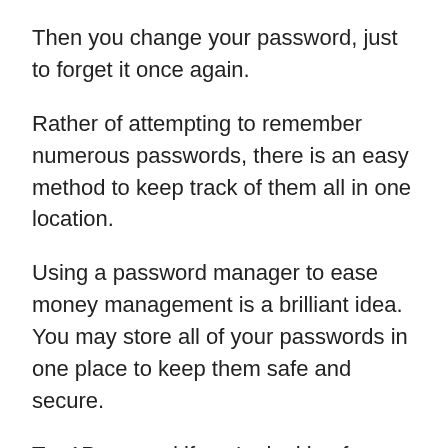Then you change your password, just to forget it once again.
Rather of attempting to remember numerous passwords, there is an easy method to keep track of them all in one location.
Using a password manager to ease money management is a brilliant idea. You may store all of your passwords in one place to keep them safe and secure.
Try 1Password if you're looking for a basic